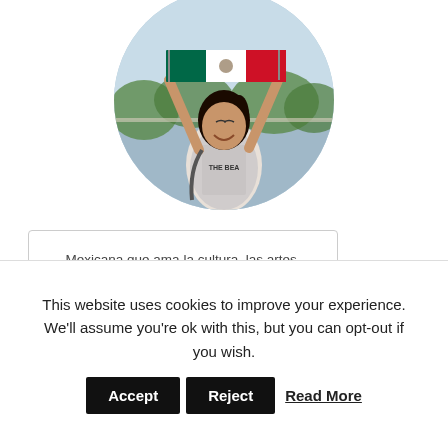[Figure (photo): Circular cropped photo of a young woman smiling and holding a Mexican flag above her head, outdoors near water with trees in background]
Mexicana que ama la cultura, las artes, viajar (aunque sea al siguiente poblado), conocer cosas y personas nuevas.
FOLLOW ME
This website uses cookies to improve your experience. We'll assume you're ok with this, but you can opt-out if you wish. Accept Reject Read More